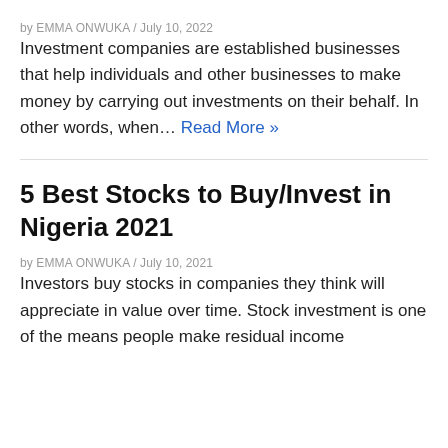by EMMA ONWUKA / July 10, 2022
Investment companies are established businesses that help individuals and other businesses to make money by carrying out investments on their behalf. In other words, when… Read More »
5 Best Stocks to Buy/Invest in Nigeria 2021
by EMMA ONWUKA / July 10, 2021
Investors buy stocks in companies they think will appreciate in value over time. Stock investment is one of the means people make residual income